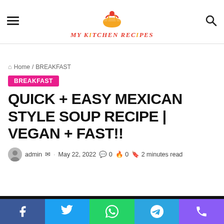My Kitchen Recipes
Home / BREAKFAST
BREAKFAST
QUICK + EASY MEXICAN STYLE SOUP RECIPE | VEGAN + FAST!!
admin · May 22, 2022  0  0  2 minutes read